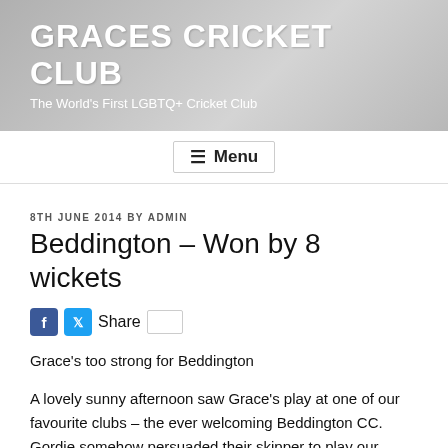GRACES CRICKET CLUB
The World's First LGBTQ+ Cricket Club
≡ Menu
8TH JUNE 2014 BY ADMIN
Beddington – Won by 8 wickets
Share
Grace's too strong for Beddington
A lovely sunny afternoon saw Grace's play at one of our favourite clubs – the ever welcoming Beddington CC. Gordie somehow persuaded their skipper to play our usual 40 overs game rather than their preferred time